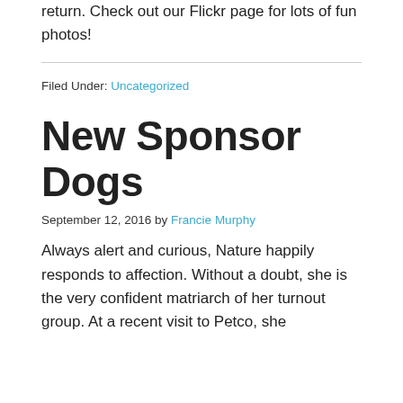lots of kisses and getting hugs in return. Check out our Flickr page for lots of fun photos!
Filed Under: Uncategorized
New Sponsor Dogs
September 12, 2016 by Francie Murphy
Always alert and curious, Nature happily responds to affection. Without a doubt, she is the very confident matriarch of her turnout group. At a recent visit to Petco, she